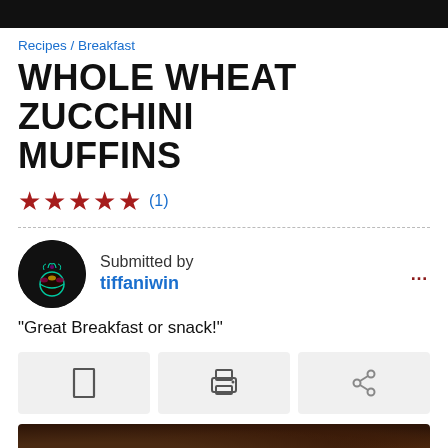Recipes / Breakfast
WHOLE WHEAT ZUCCHINI MUFFINS
★★★★★ (1)
Submitted by tiffaniwin
"Great Breakfast or snack!"
[Figure (other): Action buttons row with save/bookmark, print, and share icons]
[Figure (photo): Photo of zucchini muffins, dark brown baked goods visible at bottom]